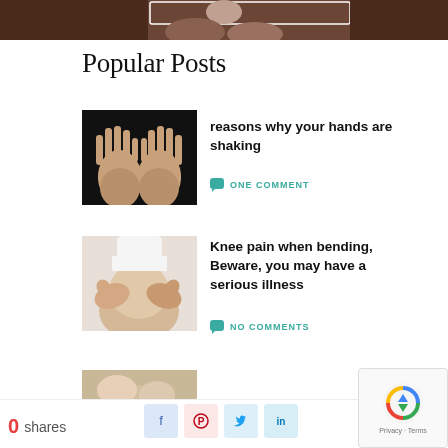[Figure (photo): Partial top image showing hands on a surface, dark brown background]
Popular Posts
[Figure (photo): Two open palms facing upward against dark background]
reasons why your hands are shaking
ONE COMMENT
[Figure (photo): Hands examining or touching a knee]
Knee pain when bending, Beware, you may have a serious illness
NO COMMENTS
[Figure (photo): Partial third post image, partially visible]
0 shares